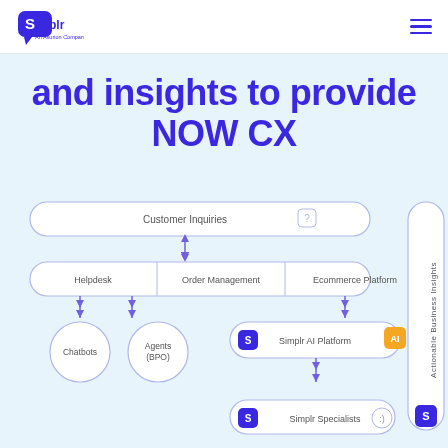Simplr — An Asurion Company
and insights to provide NOW CX
[Figure (flowchart): Flowchart showing Simplr platform architecture: Customer Inquiries feeds into Helpdesk, Order Management, Ecommerce Platform. Chatbots and Agents (BPO) connect below left. Simplr AI Platform (center) connects to Simplr Specialists below. Right side shows 'Actionable Business Insights' vertical label with Simplr icon.]